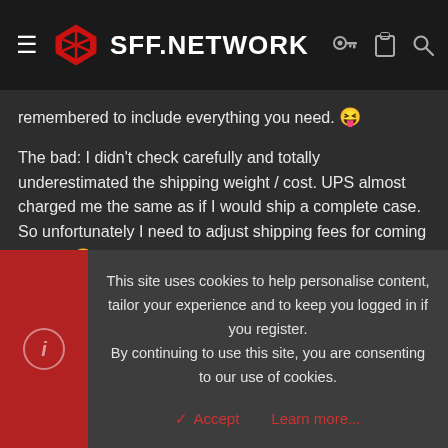SFF.NETWORK
remembered to include everything you need. 😝
The bad: I didn't check carefully and totally underestimated the shipping weight / cost. UPS almost charged me the same as if I would ship a complete case. So unfortunately I need to adjust shipping fees for coming orders. 😕
👍 Goatee and Arboreal
↩ Reply
This site uses cookies to help personalise content, tailor your experience and to keep you logged in if you register. By continuing to use this site, you are consenting to our use of cookies.
✓ Accept    Learn more...